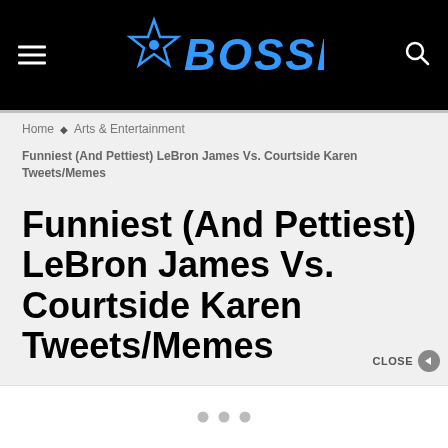BOSSIP
Home ◆ Arts & Entertainment
Funniest (And Pettiest) LeBron James Vs. Courtside Karen Tweets/Memes
Funniest (And Pettiest) LeBron James Vs. Courtside Karen Tweets/Memes